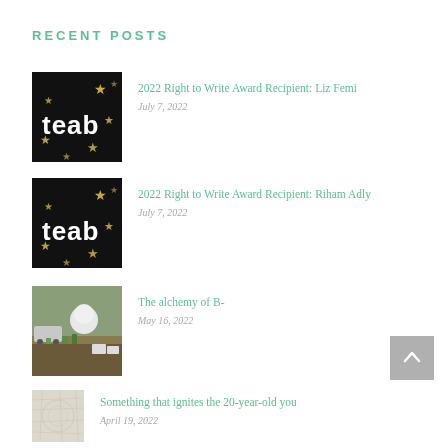RECENT POSTS
2022 Right to Write Award Recipient: Liz Femi
July 7, 2022
2022 Right to Write Award Recipient: Riham Adly
July 7, 2022
The alchemy of B-
May 16, 2022
Something that ignites the 20-year-old you
April 19, 2022